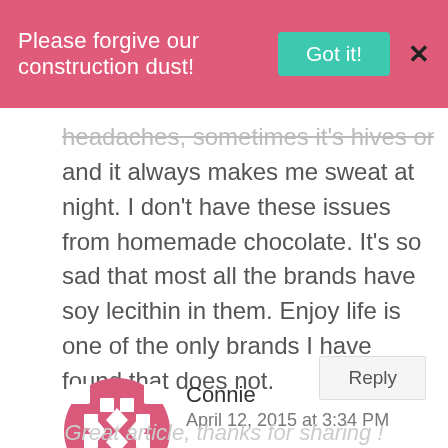Please forgive our construction dust! Got it! X
headaches, sometimes it's hives on my face and it always makes me sweat at night. I don't have these issues from homemade chocolate. It's so sad that most all the brands have soy lecithin in them. Enjoy life is one of the only brands I have found that does not.
Reply
Connie
April 12, 2015 at 3:34 PM
Great article, thanks for sharing !